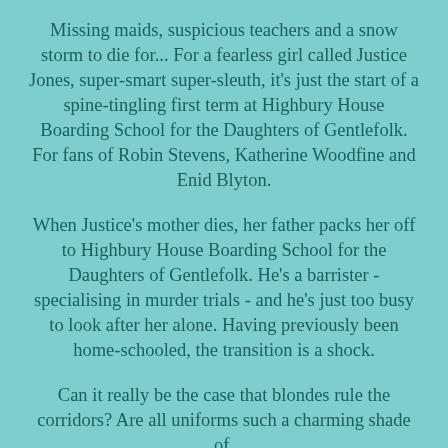Missing maids, suspicious teachers and a snow storm to die for... For a fearless girl called Justice Jones, super-smart super-sleuth, it's just the start of a spine-tingling first term at Highbury House Boarding School for the Daughters of Gentlefolk. For fans of Robin Stevens, Katherine Woodfine and Enid Blyton.
When Justice's mother dies, her father packs her off to Highbury House Boarding School for the Daughters of Gentlefolk. He's a barrister - specialising in murder trials - and he's just too busy to look after her alone. Having previously been home-schooled, the transition is a shock.
Can it really be the case that blondes rule the corridors? Are all uniforms such a charming shade of...